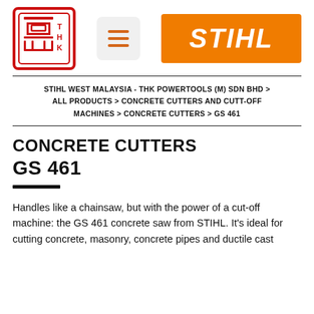[Figure (logo): THK Powertools company logo — Chinese character in red square frame with THK letters]
[Figure (logo): Hamburger menu icon button with three orange horizontal lines on grey background]
[Figure (logo): STIHL brand logo — white italic bold text on orange background]
STIHL WEST MALAYSIA - THK POWERTOOLS (M) SDN BHD > ALL PRODUCTS > CONCRETE CUTTERS AND CUTT-OFF MACHINES > CONCRETE CUTTERS > GS 461
CONCRETE CUTTERS GS 461
Handles like a chainsaw, but with the power of a cut-off machine: the GS 461 concrete saw from STIHL. It's ideal for cutting concrete, masonry, concrete pipes and ductile cast